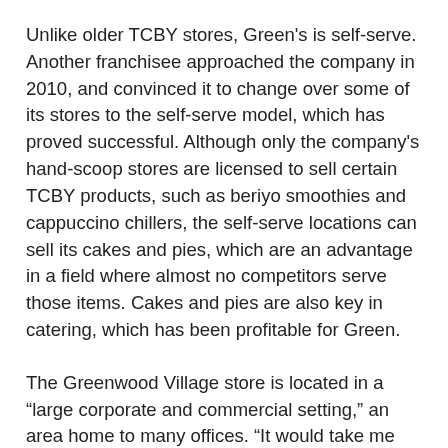Unlike older TCBY stores, Green's is self-serve. Another franchisee approached the company in 2010, and convinced it to change over some of its stores to the self-serve model, which has proved successful. Although only the company's hand-scoop stores are licensed to sell certain TCBY products, such as beriyo smoothies and cappuccino chillers, the self-serve locations can sell its cakes and pies, which are an advantage in a field where almost no competitors serve those items. Cakes and pies are also key in catering, which has been profitable for Green.
The Greenwood Village store is located in a “large corporate and commercial setting,” an area home to many offices. “It would take me the next five years to visit each and every one of them,” Green says. And that’s just what he’s been doing to market his frozen yogurt and get the TCBY name out on the street. Green and his staff go to local businesses and deliver “Street Treats,” free three-ounce servings of yogurt. (Although no one has ever yet turned down one of these free treats,